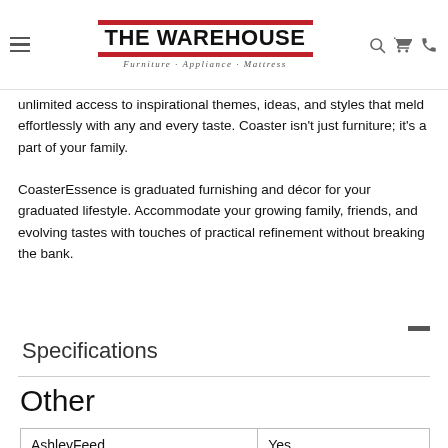THE WAREHOUSE · Furniture · Appliance · Mattress
unlimited access to inspirational themes, ideas, and styles that meld effortlessly with any and every taste. Coaster isn't just furniture; it's a part of your family.
CoasterEssence is graduated furnishing and décor for your graduated lifestyle. Accommodate your growing family, friends, and evolving tastes with touches of practical refinement without breaking the bank.
Specifications
Other
| AshleyFeed | Yes |
| --- | --- |
| AshleyFeed | Yes |